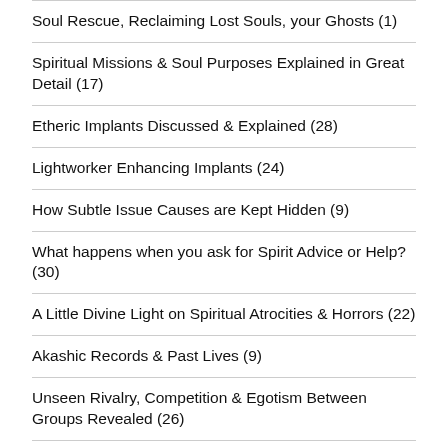Soul Rescue, Reclaiming Lost Souls, your Ghosts (1)
Spiritual Missions & Soul Purposes Explained in Great Detail (17)
Etheric Implants Discussed & Explained (28)
Lightworker Enhancing Implants (24)
How Subtle Issue Causes are Kept Hidden (9)
What happens when you ask for Spirit Advice or Help? (30)
A Little Divine Light on Spiritual Atrocities & Horrors (22)
Akashic Records & Past Lives (9)
Unseen Rivalry, Competition & Egotism Between Groups Revealed (26)
Exposed: Healing Energies & Initiations, Crappy Psychic Protection, False Karma, Fake Karmic Lords (26)
New Age Contradictions to Conscious Evolution, Love, Compassion & Sharing Values (14)
Why New Age Spirit Guides Aren't Angels (8)